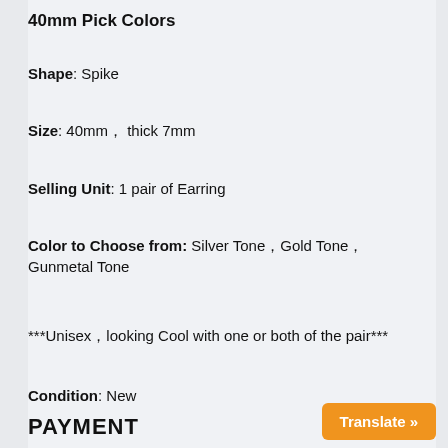40mm Pick Colors
Shape: Spike
Size: 40mm， thick 7mm
Selling Unit: 1 pair of Earring
Color to Choose from: Silver Tone，Gold Tone， Gunmetal Tone
***Unisex，looking Cool with one or both of the pair***
Condition: New
PAYMENT
Translate »